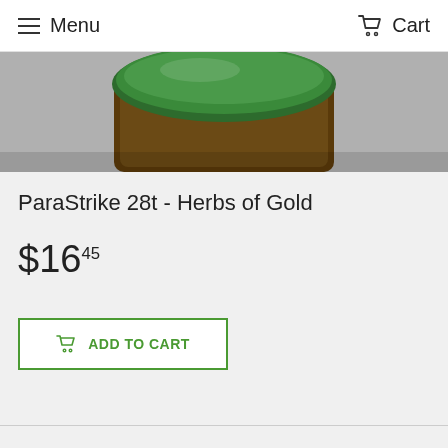Menu  Cart
[Figure (photo): Partial top view of a product jar with a dark amber/brown body and green lid, photographed on a gray surface.]
ParaStrike 28t - Herbs of Gold
$16.45
ADD TO CART